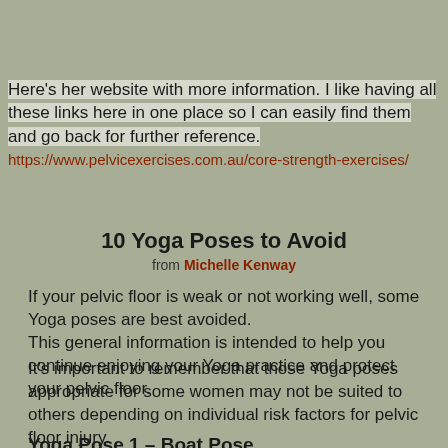Here's her website with more information. I like having all these links here in one place so I can easily find them and go back for further reference.
https://www.pelvicexercises.com.au/core-strength-exercises/
10 Yoga Poses to Avoid
from Michelle Kenway
If your pelvic floor is weak or not working well, some Yoga poses are best avoided.
This general information is intended to help you continue enjoying your Yoga practice and protect your pelvic floor.
It's important to remember that those Yoga poses appropriate for some women may not be suited to others depending on individual risk factors for pelvic floor injury.
Yoga Pose 1 – Boat Pose